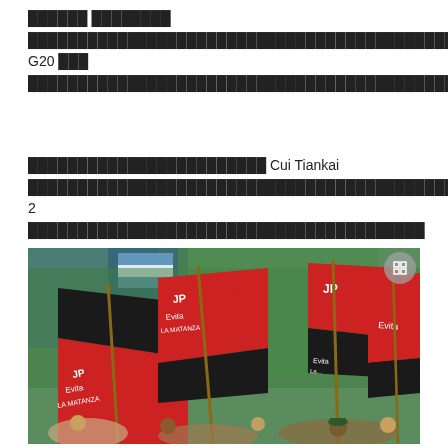█████ ███████ ████████████████████████████████████████████████████████████ G20 ███ ████████████████████████████████████████████████████████████████████████████████
████████████████████████ Cui Tiankai ██████████████████████████████████████████████████ 2 ██████████████████████████
[Figure (photo): Crowd of protesters holding red and black flags with 'JP Evita La Matanza' text written on them, with green banners in the background]